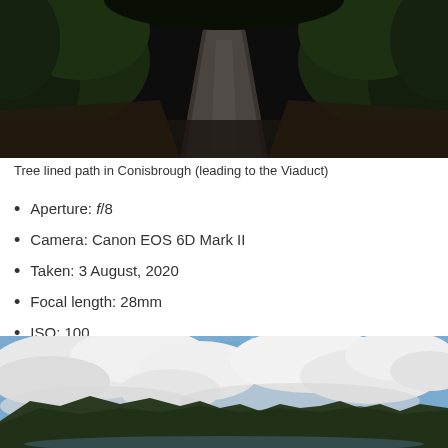[Figure (photo): Dark tree-lined path in Conisbrough leading to the Viaduct, with dense foliage on either side and a gravel path in the center]
Tree lined path in Conisbrough (leading to the Viaduct)
Aperture: f/8
Camera: Canon EOS 6D Mark II
Taken: 3 August, 2020
Focal length: 28mm
ISO: 100
Shutter speed: 1/125s
[Figure (photo): Wide landscape photo with dramatic cloudy sky, blue patches, and forested hills in the lower portion]